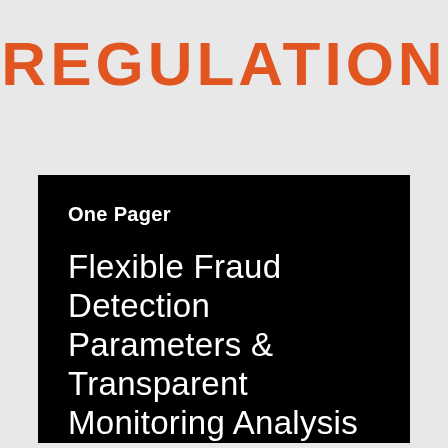REGULATION
One Pager
Flexible Fraud Detection Parameters & Transparent Monitoring Analysis